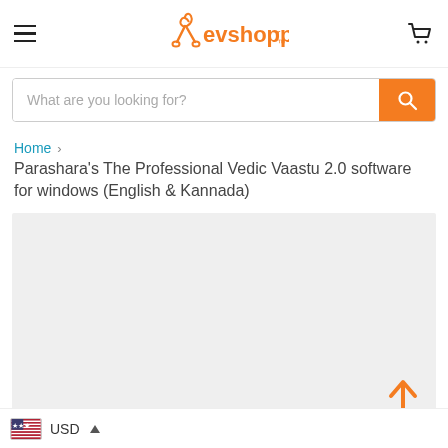evshopper
What are you looking for?
Home > Parashara's The Professional Vedic Vaastu 2.0 software for windows (English & Kannada)
Parashara's The Professional Vedic Vaastu 2.0 software for windows (English & Kannada)
[Figure (photo): Light grey product image placeholder area]
USD